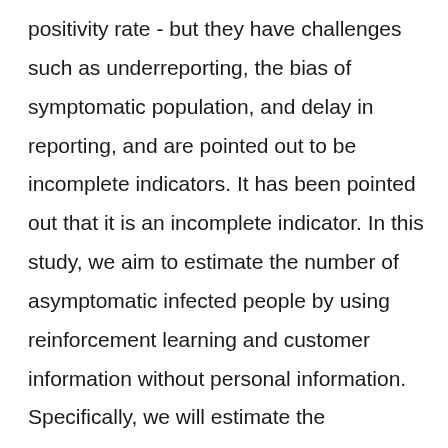positivity rate - but they have challenges such as underreporting, the bias of symptomatic population, and delay in reporting, and are pointed out to be incomplete indicators. It has been pointed out that it is an incomplete indicator. In this study, we aim to estimate the number of asymptomatic infected people by using reinforcement learning and customer information without personal information. Specifically, we will estimate the prevalence of COVID-19 in real-time based on passenger information, and set a policy for lifting restrictions to derive a guideline for estimating asymptomatic infected people with high accuracy. So here we tried to base our